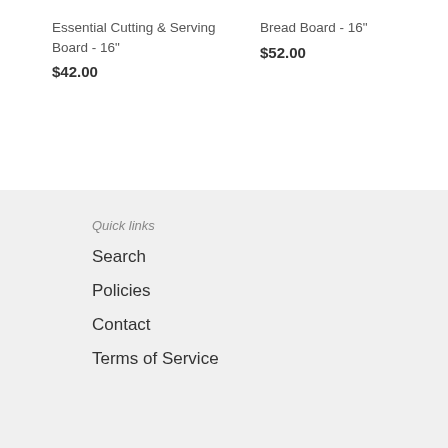Essential Cutting & Serving Board - 16"
$42.00
Bread Board - 16"
$52.00
Quick links
Search
Policies
Contact
Terms of Service